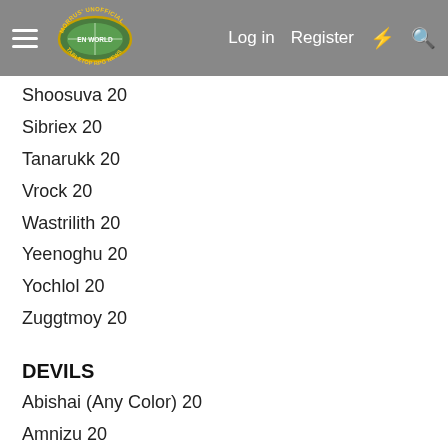Morrus' Unofficial Tabletop RPG News | Log in | Register
Shoosuva 20
Sibriex 20
Tanarukk 20
Vrock 20
Wastrilith 20
Yeenoghu 20
Yochlol 20
Zuggtmoy 20
DEVILS
Abishai (Any Color) 20
Amnizu 20
Bael 20
Barbed Devil 20
Bearded Devil 20
Bone Devil 20